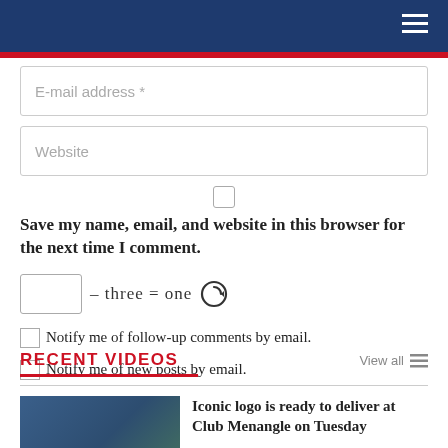E-mail address *
Website
Save my name, email, and website in this browser for the next time I comment.
– three = one
Notify me of follow-up comments by email.
Notify me of new posts by email.
RECENT VIDEOS
View all
[Figure (photo): Harness racing horse and driver photo thumbnail]
Iconic logo is ready to deliver at Club Menangle on Tuesday
FEATURES